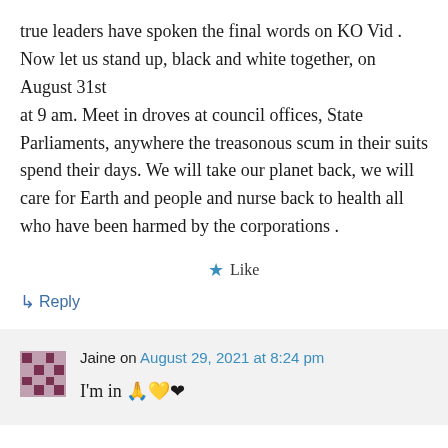true leaders have spoken the final words on KO Vid . Now let us stand up, black and white together, on August 31st at 9 am. Meet in droves at council offices, State Parliaments, anywhere the treasonous scum in their suits spend their days. We will take our planet back, we will care for Earth and people and nurse back to health all who have been harmed by the corporations .
★ Like
↳ Reply
Jaine on August 29, 2021 at 8:24 pm
I'm in 🙏💛❤